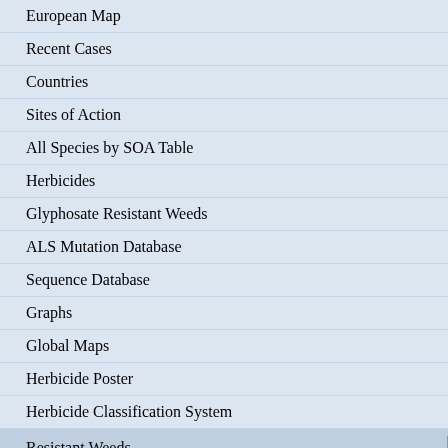European Map
Recent Cases
Countries
Sites of Action
All Species by SOA Table
Herbicides
Glyphosate Resistant Weeds
ALS Mutation Database
Sequence Database
Graphs
Global Maps
Herbicide Poster
Herbicide Classification System
Resistant Weeds
By Site of Action
By Crop
By Species
By Country
By Individual Herbicide
Membership
Junglerice (Echinochloa colona) is a member of the Poaceae family. In California this weed has evolved resistance to Group 9 (Legacy G) herbicides. This weed infests Corn (maize), Cotton, Fencerows, Lawns/Turf and Roadsides. Group 9 (Legacy G) is classified as Inhibition of Enolpyruvyl Shikimate Phosphate Synthase (Inhibition of EPSP synthase). Research has shown that these particular biotypes are resistant to glyphosate and they may be cross-resistant to other Group 9 (Legacy G) herbicides.
The 'Group' letters/numbers that you see throughout this site refer to the classification of herbicides by their site of action. For a summary of herbicides and HRAC herbicide classification...
| Common Name | Junglerice (value truncated) |
| --- | --- |
| Species | Echinochloa (truncated) |
| Group | Inhibition (truncated) |
| Herbicides | glyph(truncated) |
| Location | Unite(truncated) |